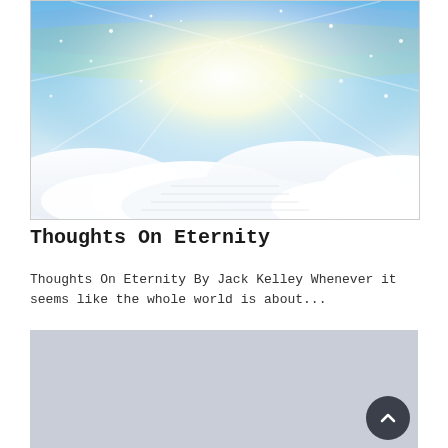[Figure (illustration): Heavenly scene with bright light radiating upward through colorful sky with rainbows and sparkles, above white clouds suggesting stairway to heaven]
Thoughts On Eternity
Thoughts On Eternity By Jack Kelley Whenever it seems like the whole world is about...
[Figure (photo): Light gray/blue placeholder image, partially visible at bottom of page]